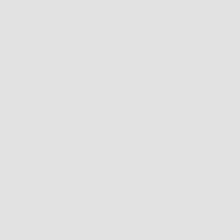| Code | Description |
| --- | --- |
| DSTCBE | Disappointed Sell T... |
| DSTCBR |  |
| DSTCBRBE | Disappointed Sell T... |
| DSTCBRE | Disappointed Sell T... |
| DT |  |
| DTBF | Double Top Bear Flag, so w... |
| DTBRF | Double Top Bear Flag, so w... |
| DTHH |  |
| DTLH |  |
| DTMTR |  |
| DTPB | Double Top Pullback means... |
| DTR |  |
| DTS |  |
| DTTR |  |
| EB |  |
| EBL | Exhausted Bulls will probably... |
| EBLT |  |